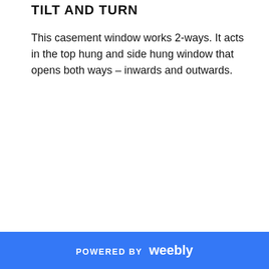TILT AND TURN
This casement window works 2-ways. It acts in the top hung and side hung window that opens both ways – inwards and outwards.
POWERED BY weebly